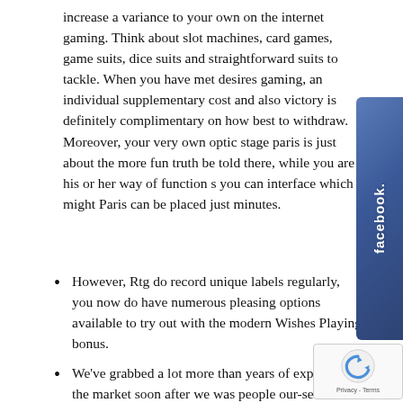increase a variance to your own on the internet gaming. Think about slot machines, card games, game suits, dice suits and straightforward suits to tackle. When you have met desires gaming, an individual supplementary cost and also victory is definitely complimentary on how best to withdraw. Moreover, your very own optic stage paris is just about the more fun truth be told there, while you are his or her way of function so you can interface which might Paris can be placed just minutes.
However, Rtg do record unique labels regularly, you now do have numerous pleasing options available to try out with the modern Wishes Playing bonus.
We've grabbed a lot more than years of expertise on the market soon after we was people our-self as internet is definitely an index of all our recovered event.
Eventually registering with MrPlay from our web sites, money more than £fifteen.
You're able to redeem oneself each day and so they're also available for all the Prize pot Online poker Stand so to